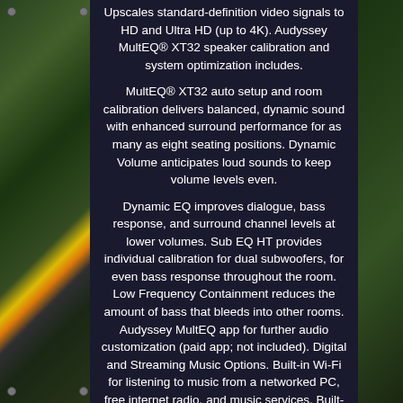Upscales standard-definition video signals to HD and Ultra HD (up to 4K). Audyssey MultEQ® XT32 speaker calibration and system optimization includes.
MultEQ® XT32 auto setup and room calibration delivers balanced, dynamic sound with enhanced surround performance for as many as eight seating positions. Dynamic Volume anticipates loud sounds to keep volume levels even.
Dynamic EQ improves dialogue, bass response, and surround channel levels at lower volumes. Sub EQ HT provides individual calibration for dual subwoofers, for even bass response throughout the room. Low Frequency Containment reduces the amount of bass that bleeds into other rooms. Audyssey MultEQ app for further audio customization (paid app; not included). Digital and Streaming Music Options. Built-in Wi-Fi for listening to music from a networked PC, free internet radio, and music services. Built-in HEOS technology wirelessly connects compatible HEOS components for whole home audio. Includes support for Pandora®, SiriusXM, and Spotify® (subscription required for some services). Free HEOS app offers easy